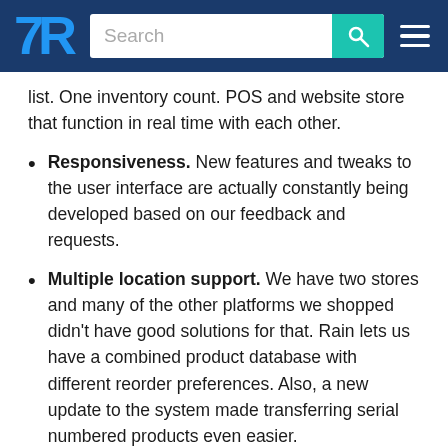TrustRadius — Search navigation bar
list. One inventory count. POS and website store that function in real time with each other.
Responsiveness. New features and tweaks to the user interface are actually constantly being developed based on our feedback and requests.
Multiple location support. We have two stores and many of the other platforms we shopped didn't have good solutions for that. Rain lets us have a combined product database with different reorder preferences. Also, a new update to the system made transferring serial numbered products even easier.
Read full review